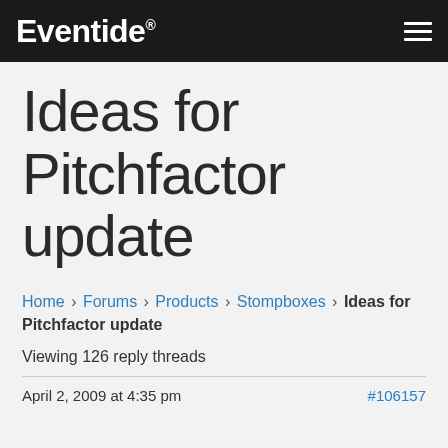Eventide
Ideas for Pitchfactor update
Home › Forums › Products › Stompboxes › Ideas for Pitchfactor update
Viewing 126 reply threads
April 2, 2009 at 4:35 pm   #106157